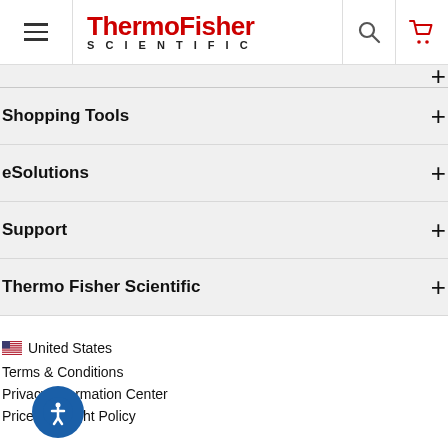[Figure (logo): ThermoFisher Scientific logo with hamburger menu, search icon, and cart icon in header navigation bar]
Shopping Tools
eSolutions
Support
Thermo Fisher Scientific
United States
Terms & Conditions
Privacy Information Center
Price & Freight Policy